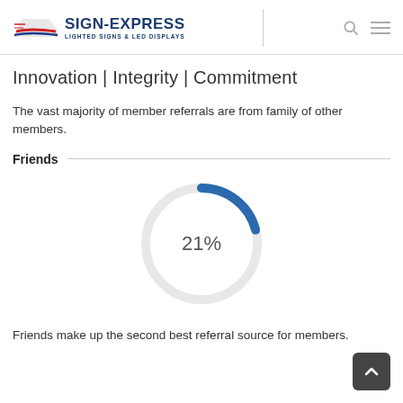SIGN-EXPRESS LIGHTED SIGNS & LED DISPLAYS
Innovation | Integrity | Commitment
The vast majority of member referrals are from family of other members.
Friends
[Figure (donut-chart): ]
Friends make up the second best referral source for members.